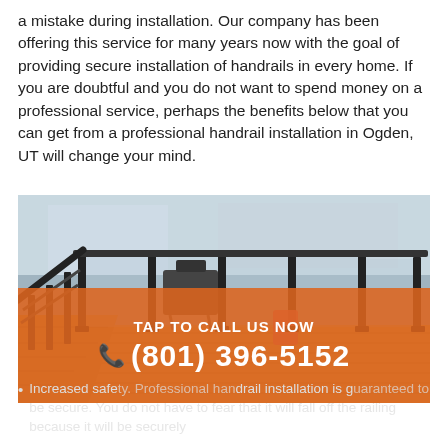a mistake during installation. Our company has been offering this service for many years now with the goal of providing secure installation of handrails in every home. If you are doubtful and you do not want to spend money on a professional service, perhaps the benefits below that you can get from a professional handrail installation in Ogden, UT will change your mind.
[Figure (photo): A wooden deck with black metal handrails and glass panel railings installed around the perimeter, with stairs leading up. A barbecue grill and patio furniture visible in the background. Residential homes visible behind.]
TAP TO CALL US NOW
(801) 396-5152
Increased safety. Professional handrail installation is guaranteed to be secure. You do not have to fear that it will fall off the railing because it will be securely